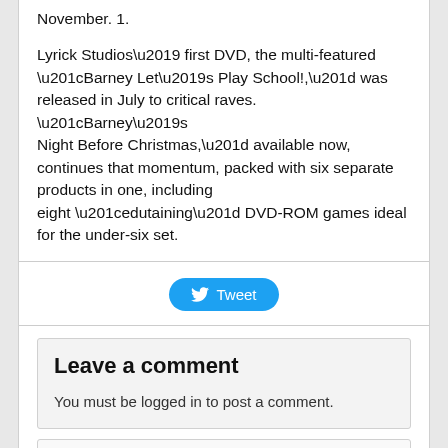November. 1.

Lyrick Studios’ first DVD, the multi-featured “Barney Let’s Play School!,” was released in July to critical raves. “Barney’s Night Before Christmas,” available now, continues that momentum, packed with six separate products in one, including eight “edutaining” DVD-ROM games ideal for the under-six set.
[Figure (other): Twitter Tweet button with bird icon]
Leave a comment
You must be logged in to post a comment.
To search, type and hit enter